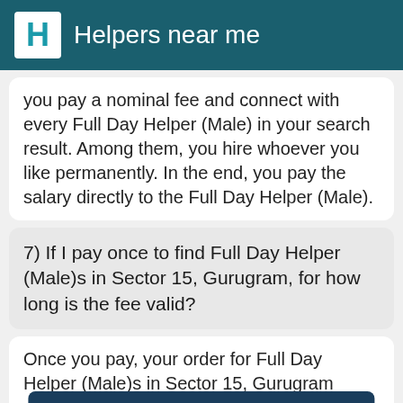Helpers near me
you pay a nominal fee and connect with every Full Day Helper (Male) in your search result. Among them, you hire whoever you like permanently. In the end, you pay the salary directly to the Full Day Helper (Male).
7) If I pay once to find Full Day Helper (Male)s in Sector 15, Gurugram, for how long is the fee valid?
Once you pay, your order for Full Day Helper (Male)s in Sector 15, Gurugram remains valid for the next 15 days. It usually takes about 5 your requirement, but the platform still keeps your order for Full Day Helper (Male)s in